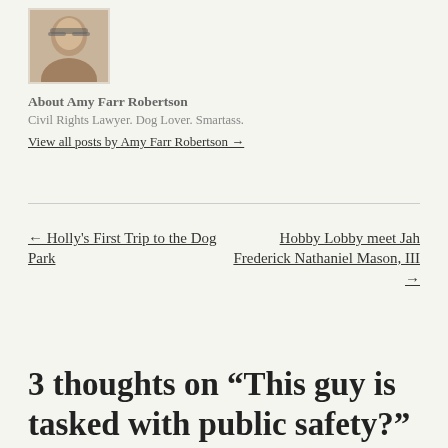[Figure (photo): Small profile photo of Amy Farr Robertson, a person with glasses]
About Amy Farr Robertson
Civil Rights Lawyer. Dog Lover. Smartass.
View all posts by Amy Farr Robertson →
← Holly's First Trip to the Dog Park
Hobby Lobby meet Jah Frederick Nathaniel Mason, III →
3 thoughts on “This guy is tasked with public safety?”